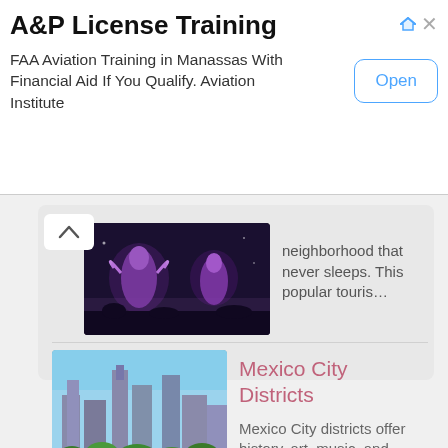A&P License Training
FAA Aviation Training in Manassas With Financial Aid If You Qualify. Aviation Institute
Open
neighborhood that never sleeps. This popular touris…
[Figure (photo): Night scene with purple-lit decorative statues/figures at what appears to be a festival or plaza]
Mexico City Districts
Mexico City districts offer history, art, music, and great restaurants. Some …
[Figure (photo): Aerial view of Mexico City showing urban skyline with tall buildings, trees (likely Chapultepec Park), and dense city blocks]